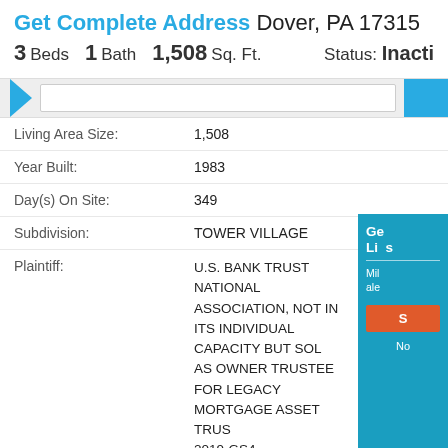Get Complete Address Dover, PA 17315
3 Beds  1 Bath  1,508 Sq. Ft.   Status: Inactive
| Field | Value |
| --- | --- |
| Living Area Size: | 1,508 |
| Year Built: | 1983 |
| Day(s) On Site: | 349 |
| Subdivision: | TOWER VILLAGE |
| Plaintiff: | U.S. BANK TRUST NATIONAL ASSOCIATION, NOT IN ITS INDIVIDUAL CAPACITY BUT SOLELY AS OWNER TRUSTEE FOR LEGACY MORTGAGE ASSET TRUST 2019-GS4 |
| Defendant Name: | LIVENGOOD, ROBERT |
| Case Number: | 2021-SU-001113 |
| Judgment Value: | $157,245 |
| Attorney Phone: | (215) 855-9521 |